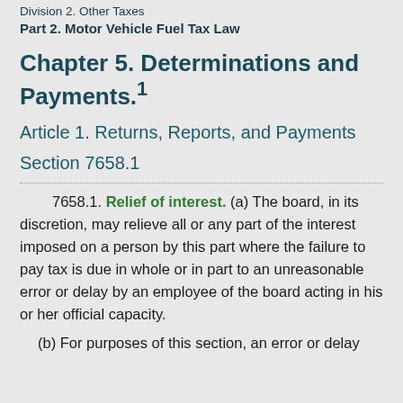Division 2. Other Taxes
Part 2. Motor Vehicle Fuel Tax Law
Chapter 5. Determinations and Payments.1
Article 1. Returns, Reports, and Payments
Section 7658.1
7658.1. Relief of interest. (a) The board, in its discretion, may relieve all or any part of the interest imposed on a person by this part where the failure to pay tax is due in whole or in part to an unreasonable error or delay by an employee of the board acting in his or her official capacity.
(b) For purposes of this section, an error or delay